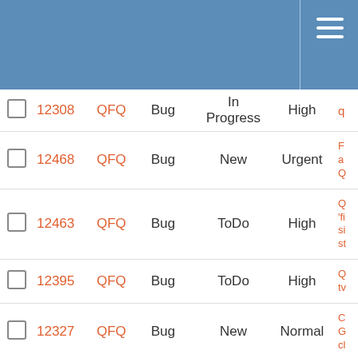|  | ID | Project | Type | Status | Priority | Description |
| --- | --- | --- | --- | --- | --- | --- |
|  | 12308 | QFQ | Bug | In Progress | High | q |
|  | 12468 | QFQ | Bug | New | Urgent | F a Q... |
|  | 12463 | QFQ | Bug | ToDo | High | Q 'fi si st |
|  | 12395 | QFQ | Bug | ToDo | High | Q tv |
|  | 12327 | QFQ | Bug | New | Normal | C G cl |
|  | 12325 | QFQ | Bug | Priorize | Normal | M n sy |
|  | 12187 | QFQ | Bug | New | Normal | T vi p st |
|  | 12133 | QFQ | Bug | New | Normal | N a e |